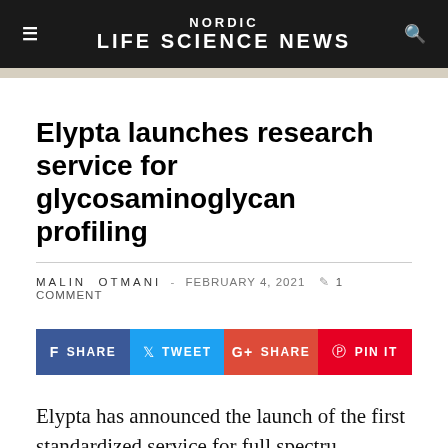NORDIC LIFE SCIENCE NEWS
Elypta launches research service for glycosaminoglycan profiling
MALIN OTMANI - FEBRUARY 4, 2021  1 COMMENT
[Figure (infographic): Social sharing buttons: SHARE (Facebook, blue), TWEET (Twitter, sky blue), SHARE (Google+, red), PIN IT (Pinterest, red)]
Elypta has announced the launch of the first standardized service for full spectrum glycosaminoglycan quantification for